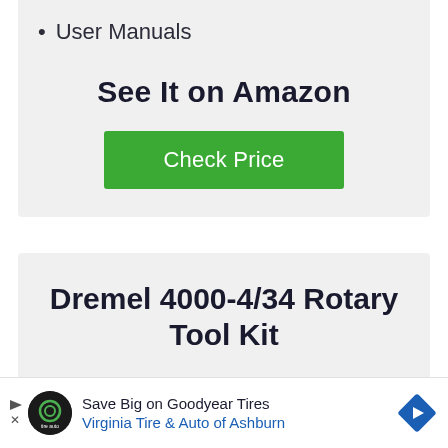User Manuals
See It on Amazon
[Figure (other): Green 'Check Price' button]
Dremel 4000-4/34 Rotary Tool Kit
[Figure (other): Advertisement bar: Save Big on Goodyear Tires - Virginia Tire & Auto of Ashburn]